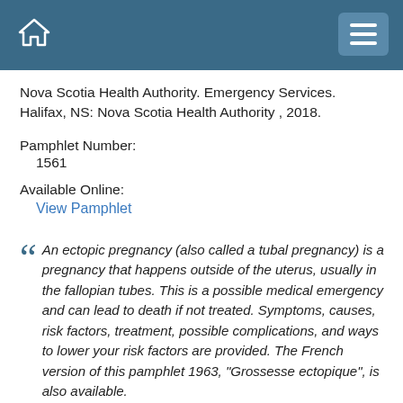Nova Scotia Health Authority. Emergency Services. Halifax, NS: Nova Scotia Health Authority , 2018.
Pamphlet Number:
1561
Available Online:
View Pamphlet
An ectopic pregnancy (also called a tubal pregnancy) is a pregnancy that happens outside of the uterus, usually in the fallopian tubes. This is a possible medical emergency and can lead to death if not treated. Symptoms, causes, risk factors, treatment, possible complications, and ways to lower your risk factors are provided. The French version of this pamphlet 1963, "Grossesse ectopique", is also available.